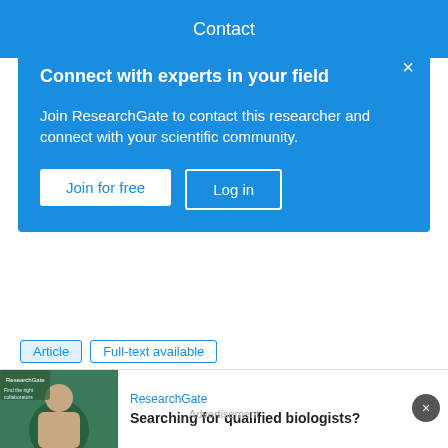Contact
Connect with experts in your field
Join ResearchGate to contact this researcher and connect with your scientific community.
Join for free
Log in
Article   Full-text available
Jun 2020
Niloofar Jahanshahi · Pushpak Jagtap · Majid Zamani
In this paper, we study formal synthesis of control policies for partially observed jump-diffusion systems against complex logic specifications. Given a state estimator, we utilize a
Advertisement
ResearchGate
Searching for qualified biologists?